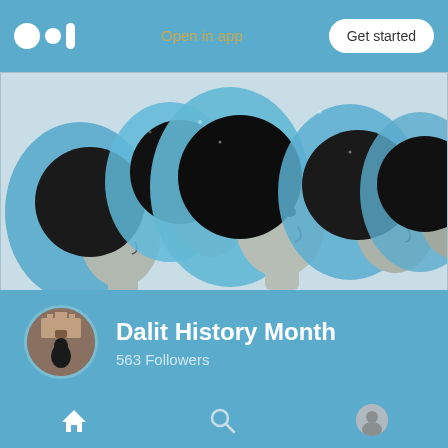Open in app | Get started
[Figure (illustration): Illustration of multiple South Asian women's profiles/faces in a stylized art style, with blue head coverings and gray skin tones, looking upward]
Dalit History Month
563 Followers
Home
May 1
Home | Search | Profile